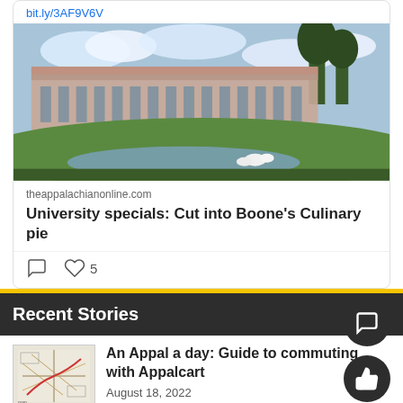bit.ly/3AF9V6V
[Figure (photo): Exterior photo of a university building with a pond in the foreground, trees and cloudy sky in background]
theappalachianonline.com
University specials: Cut into Boone's Culinary pie
Recent Stories
[Figure (map): Small thumbnail map image showing a regional map with roads and boundaries]
An Appal a day: Guide to commuting with Appalcart
August 18, 2022